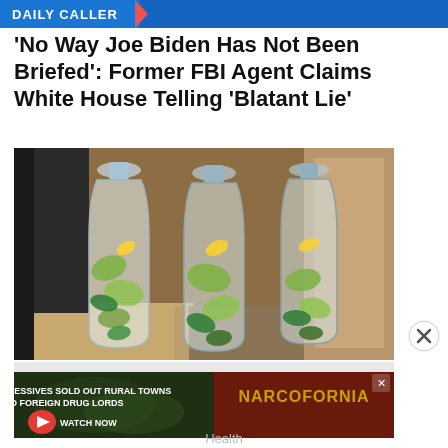[Figure (screenshot): Daily Caller news website header/banner strip at top]
'No Way Joe Biden Has Not Been Briefed': Former FBI Agent Claims White House Telling 'Blatant Lie'
[Figure (photo): Three plastic water bottles filled with cucumber, lemon, and mint leaves on a kitchen counter]
[Figure (screenshot): Advertisement banner: 'How Progressives Sold Out Rural Towns to Foreign Drug Lords' - Narcofornia, Watch Now button]
Health